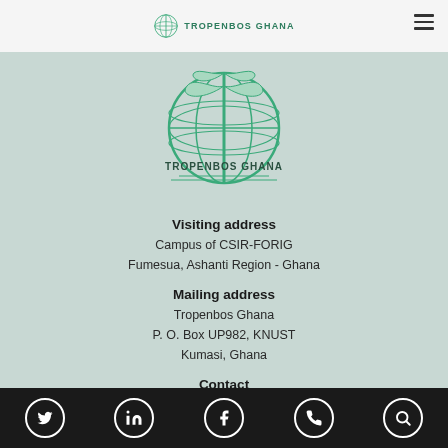TROPENBOS GHANA
[Figure (logo): Tropenbos Ghana globe and tree logo with text TROPENBOS GHANA]
Visiting address
Campus of CSIR-FORIG
Fumesua, Ashanti Region - Ghana
Mailing address
Tropenbos Ghana
P. O. Box UP982, KNUST
Kumasi, Ghana
Contact
+233245408876 / +233505777997
info@tropenbosgh.org
Social media and contact icons: Twitter, LinkedIn, Facebook, Phone, Search